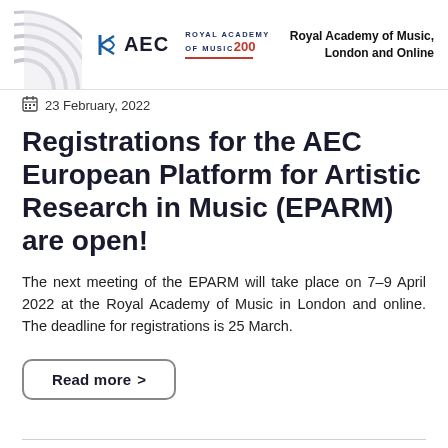AEC | Royal Academy of Music 200 | Royal Academy of Music, London and Online
23 February, 2022
Registrations for the AEC European Platform for Artistic Research in Music (EPARM) are open!
The next meeting of the EPARM will take place on 7–9 April 2022 at the Royal Academy of Music in London and online. The deadline for registrations is 25 March.
Read more >